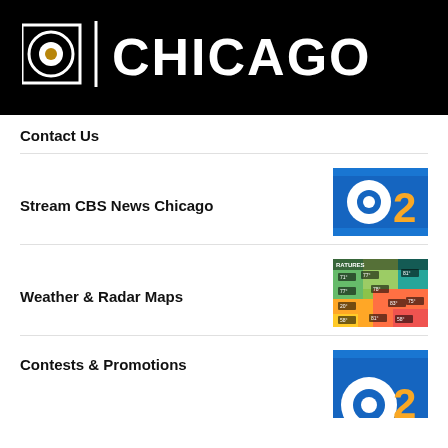[Figure (logo): CBS 2 Chicago logo banner on black background with CBS eye logo, number 2, vertical divider, and CHICAGO text in white]
Contact Us
Stream CBS News Chicago
[Figure (logo): CBS 2 Chicago logo on blue background with CBS eye icon in white and yellow number 2]
Weather & Radar Maps
[Figure (screenshot): Weather radar map showing temperature readings across a region with colorful heat map overlay]
Contests & Promotions
[Figure (logo): CBS 2 Chicago logo on blue background, partially visible]